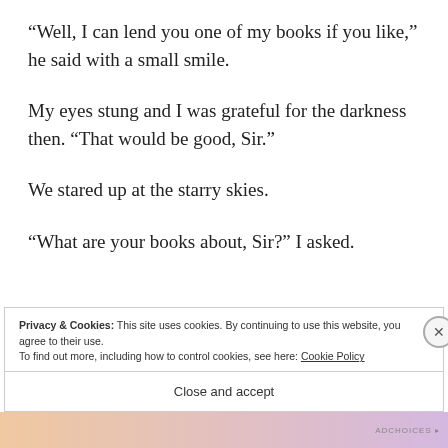“Well, I can lend you one of my books if you like,” he said with a small smile.
My eyes stung and I was grateful for the darkness then. “That would be good, Sir.”
We stared up at the starry skies.
“What are your books about, Sir?” I asked.
Privacy & Cookies: This site uses cookies. By continuing to use this website, you agree to their use.
To find out more, including how to control cookies, see here: Cookie Policy
Close and accept